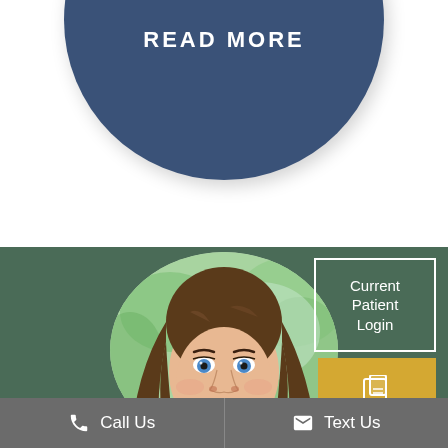[Figure (other): Blue circle button with 'READ MORE' text and two vertical tick marks]
[Figure (photo): Circular cropped photo of a young woman with long brown hair smiling, with green leaves in background]
Current Patient Login
Patient Forms
Call Us
Text Us